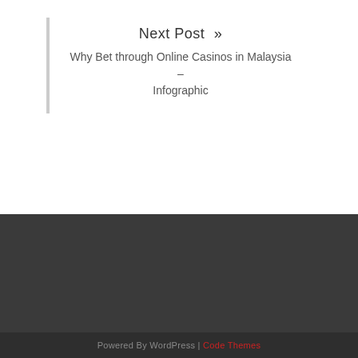Next Post »
Why Bet through Online Casinos in Malaysia – Infographic
Powered By WordPress | Code Themes